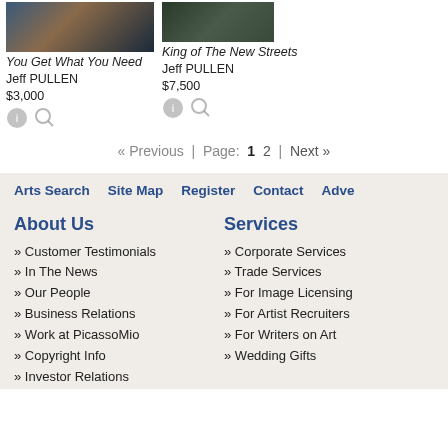[Figure (photo): Artwork thumbnail for 'You Get What You Need' by Jeff PULLEN]
You Get What You Need
Jeff PULLEN
$3,000
[Figure (photo): Artwork thumbnail for 'King of The New Streets' by Jeff PULLEN]
King of The New Streets
Jeff PULLEN
$7,500
« Previous | Page: 1 2 | Next »
Arts Search   Site Map   Register   Contact   Adve
About Us
» Customer Testimonials
» In The News
» Our People
» Business Relations
» Work at PicassoMio
» Copyright Info
» Investor Relations
Services
» Corporate Services
» Trade Services
» For Image Licensing
» For Artist Recruiters
» For Writers on Art
» Wedding Gifts